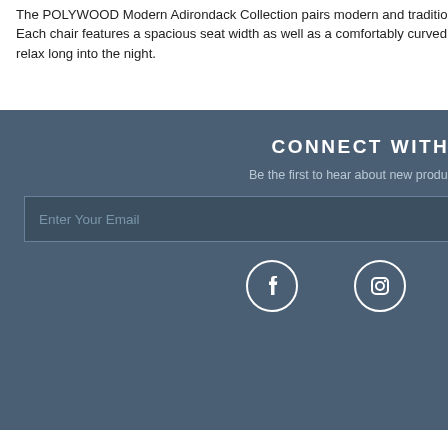The POLYWOOD Modern Adirondack Collection pairs modern and traditional for a contemporary aesthetic. Each chair features a spacious seat width as well as a comfortably curved back so you and your guests can relax long into the night.
CONNECT WITH US
Be the first to hear about new products, givea...
[Figure (screenshot): Email input field with placeholder 'Enter Your Email' on dark blue background]
[Figure (infographic): Social media icons: Facebook (circle), Instagram (circle), YouTube (rounded square) in white on dark blue background]
Every month, t... Adirondack C... email subsc...
[Figure (screenshot): Email input field with placeholder 'Enter your em...' on white background]
[Figure (screenshot): Coral/salmon colored subscribe button]
One (1) winner w... month and e...
NEAREST SHOWROOM
USE MY LOCATION
Find Other Showrooms